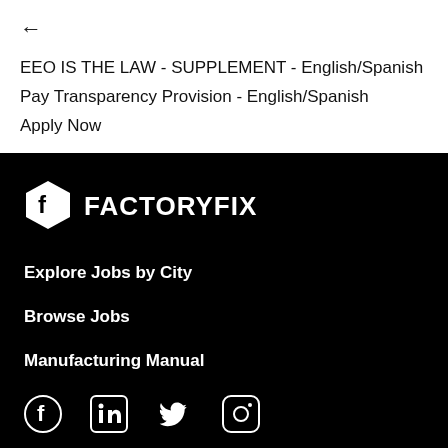←
EEO IS THE LAW - SUPPLEMENT - English/Spanish
Pay Transparency Provision - English/Spanish
Apply Now
[Figure (logo): FactoryFix logo with hexagon icon and FACTORYFIX text in white on black background]
Explore Jobs by City
Browse Jobs
Manufacturing Manual
[Figure (infographic): Social media icons: Facebook, LinkedIn, Twitter, Instagram]
Privacy Policy